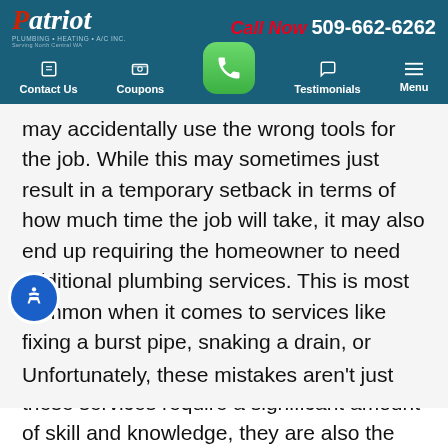Patriot Plumbing Heating & Cooling — Call Now 509-662-6262
[Figure (screenshot): Navigation bar with Contact Us, Coupons, phone button, Testimonials, Menu]
may accidentally use the wrong tools for the job. While this may sometimes just result in a temporary setback in terms of how much time the job will take, it may also end up requiring the homeowner to need additional plumbing services. This is most common when it comes to services like fixing a burst pipe, snaking a drain, or installing a new water heater. Since all of these services require a significant amount of skill and knowledge, they are also the easiest to accidentally make mistakes with.
Unfortunately, these mistakes aren't just